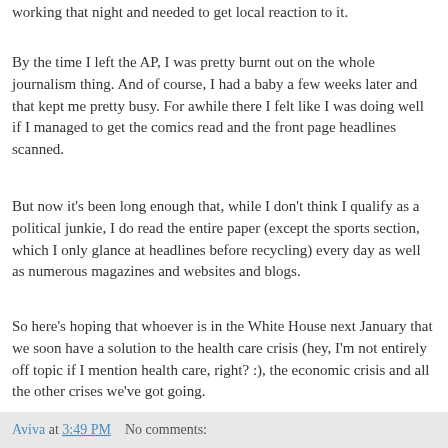working that night and needed to get local reaction to it.
By the time I left the AP, I was pretty burnt out on the whole journalism thing. And of course, I had a baby a few weeks later and that kept me pretty busy. For awhile there I felt like I was doing well if I managed to get the comics read and the front page headlines scanned.
But now it's been long enough that, while I don't think I qualify as a political junkie, I do read the entire paper (except the sports section, which I only glance at headlines before recycling) every day as well as numerous magazines and websites and blogs.
So here's hoping that whoever is in the White House next January that we soon have a solution to the health care crisis (hey, I'm not entirely off topic if I mention health care, right? :), the economic crisis and all the other crises we've got going.
Aviva at 3:49 PM   No comments: